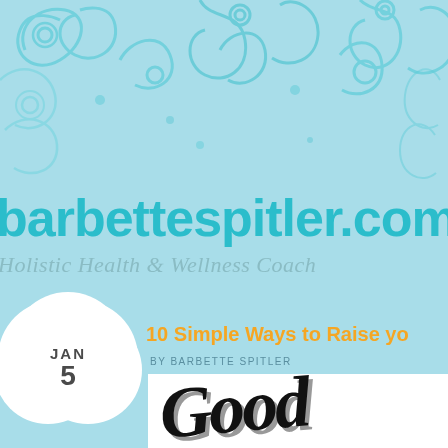[Figure (illustration): Decorative teal swirl/flourish pattern on light blue background at the top of the page]
barbettespitler.com
Holistic Health & Wellness Coach
[Figure (other): Cloud-shaped white date badge showing JAN 5]
10 Simple Ways to Raise yo
BY BARBETTE SPITLER
[Figure (illustration): White rectangle containing large decorative brush-script text reading 'Good' in black with drop shadow]